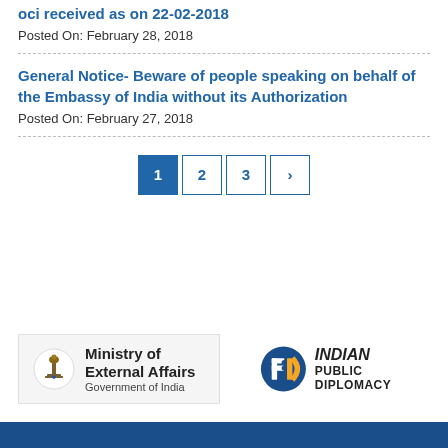oci received as on 22-02-2018
Posted On: February 28, 2018
General Notice- Beware of people speaking on behalf of the Embassy of India without its Authorization
Posted On: February 27, 2018
[Figure (other): Pagination controls showing pages 1, 2, 3 and a next arrow button]
[Figure (logo): Ministry of External Affairs, Government of India logo with Ashoka Pillar emblem]
[Figure (logo): Indian Public Diplomacy logo]